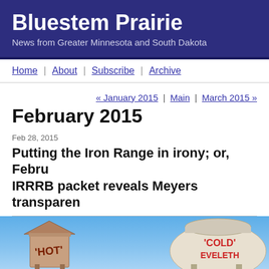Bluestem Prairie
News from Greater Minnesota and South Dakota
Home | About | Subscribe | Archive
« January 2015 | Main | March 2015 »
February 2015
Feb 28, 2015
Putting the Iron Range in irony; or, February IRRRB packet reveals Meyers transparen
[Figure (photo): Two water towers side by side against a blue sky. The left tower is labeled 'HOT' and the right tower is labeled 'COLD EVELETH']